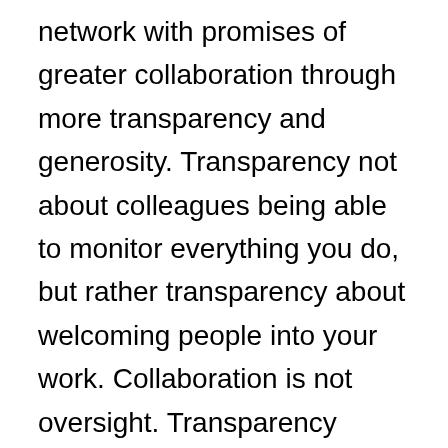network with promises of greater collaboration through more transparency and generosity. Transparency not about colleagues being able to monitor everything you do, but rather transparency about welcoming people into your work. Collaboration is not oversight. Transparency should provide more opportunities, not more risk and exposure.
Yammer, I may complain about you. I may wish for quicker development of more features. I may ask for easier access and more customization. Personally, I hope you never decide to reveal which people have accessed which files and